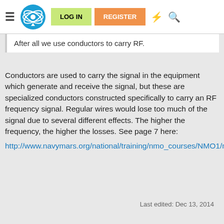LOG IN  REGISTER
After all we use conductors to carry RF.
Conductors are used to carry the signal in the equipment which generate and receive the signal, but these are specialized conductors constructed specifically to carry an RF frequency signal. Regular wires would lose too much of the signal due to several different effects. The higher the frequency, the higher the losses. See page 7 here: http://www.navymars.org/national/training/nmo_courses/NMO1/module10/14182_ch3.pdf
Last edited: Dec 13, 2014